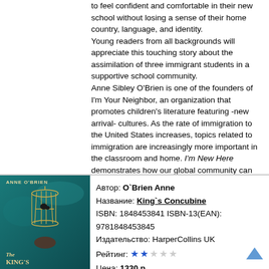to feel confident and comfortable in their new school without losing a sense of their home country, language, and identity.
Young readers from all backgrounds will appreciate this touching story about the assimilation of three immigrant students in a supportive school community.
Anne Sibley O'Brien is one of the founders of I'm Your Neighbor, an organization that promotes children's literature featuring -new arrival- cultures. As the rate of immigration to the United States increases, topics related to immigration are increasingly more important in the classroom and home. I'm New Here demonstrates how our global community can work together and build a home for all.
[Figure (illustration): Heart (favorite/wishlist) button icon inside a rounded rectangle border]
[Figure (photo): Book cover of 'The King's Concubine' by Anne O'Brien, showing a birdcage with a bird, teal/dark background, published by HarperCollins]
Автор: O`Brien Anne
Название: King`s Concubine
ISBN: 1848453841 ISBN-13(EAN): 9781848453845
Издательство: HarperCollins UK
Рейтинг: ★★☆☆☆
Цена: 1330 р.
Наличие на складе: Невозможна поставка.